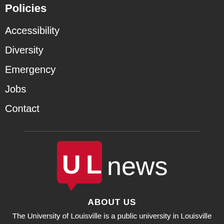Policies
Accessibility
Diversity
Emergency
Jobs
Contact
[Figure (logo): UofL News logo — red speech-bubble square with white UL letters and red 'of' superscript, followed by white 'news' text]
ABOUT US
The University of Louisville is a public university in Louisville